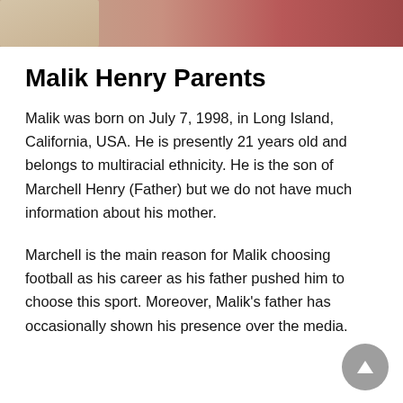[Figure (photo): Partial photo strip at top of page showing a person in a pink/red top, cropped]
Malik Henry Parents
Malik was born on July 7, 1998, in Long Island, California, USA. He is presently 21 years old and belongs to multiracial ethnicity. He is the son of Marchell Henry (Father) but we do not have much information about his mother.
Marchell is the main reason for Malik choosing football as his career as his father pushed him to choose this sport. Moreover, Malik's father has occasionally shown his presence over the media.